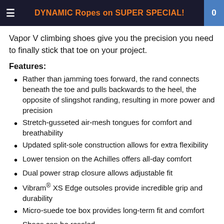DYNAMIC Ropes on SUPER SPECIAL!
Vapor V climbing shoes give you the precision you need to finally stick that toe on your project.
Features:
Rather than jamming toes forward, the rand connects beneath the toe and pulls backwards to the heel, the opposite of slingshot randing, resulting in more power and precision
Stretch-gusseted air-mesh tongues for comfort and breathability
Updated split-sole construction allows for extra flexibility
Lower tension on the Achilles offers all-day comfort
Dual power strap closure allows adjustable fit
Vibram® XS Edge outsoles provide incredible grip and durability
Micro-suede toe box provides long-term fit and comfort
Shoes can be resoled